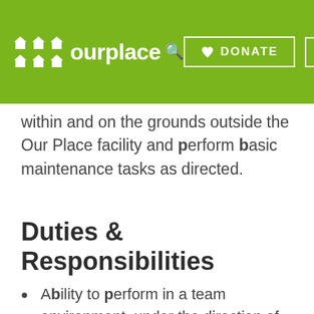ourplace — DONATE [navigation header]
within and on the grounds outside the Our Place facility and perform basic maintenance tasks as directed.
Duties & Responsibilities
Ability to perform in a team environment, under the direction of the maintenance or facilities lead.
To perform daily cleaning of assigned areas.
To assist in garbage and recycling